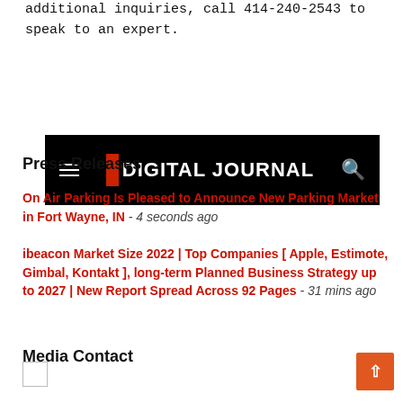additional inquiries, call 414-240-2543 to speak to an expert.
[Figure (screenshot): Digital Journal website navigation bar with hamburger menu, Digital Journal logo with orange square, and search icon, all on a black background]
Press Releases
On Air Parking Is Pleased to Announce New Parking Market in Fort Wayne, IN - 4 seconds ago
ibeacon Market Size 2022 | Top Companies [ Apple, Estimote, Gimbal, Kontakt ], long-term Planned Business Strategy up to 2027 | New Report Spread Across 92 Pages - 31 mins ago
Media Contact